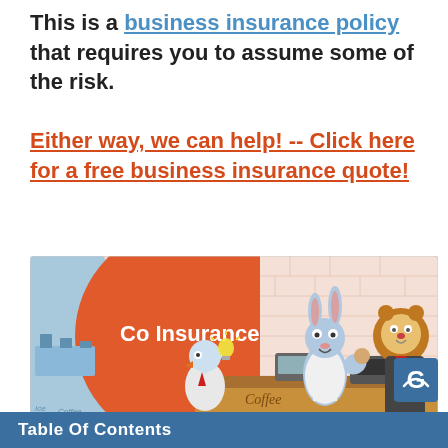This is a business insurance policy that requires you to assume some of the risk.
Either way, we can help! -- Click here for a free business insurance quote!
[Figure (illustration): Cartoon illustration of animal characters (a bird with a lightbulb, a rabbit, and a lion) in a coffee shop setting with text 'Co Insurance' on an orange circle background]
[Figure (logo): Small blue logo icon in bottom right corner]
Table Of Contents